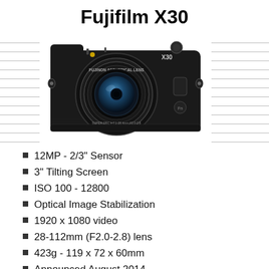Fujifilm X30
[Figure (photo): Black Fujifilm X30 compact camera with FUJINON ASPHERICAL LENS, front view showing lens, X30 branding, and camera body controls, on white background. Decorative horizontal rules on left and right sides.]
12MP - 2/3" Sensor
3" Tilting Screen
ISO 100 - 12800
Optical Image Stabilization
1920 x 1080 video
28-112mm (F2.0-2.8) lens
423g - 119 x 72 x 60mm
Announced August 2014